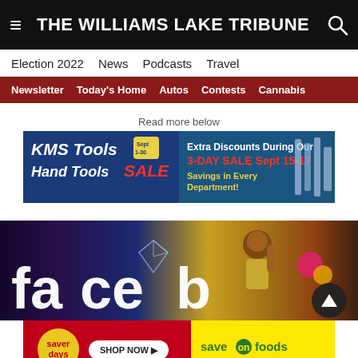THE WILLIAMS LAKE TRIBUNE
Election 2022  News  Podcasts  Travel
Newsletter  Today's Home  Autos  Contests  Cannabis
Read more below
[Figure (screenshot): KMS Tools advertisement: Hand Tools SALE, Extra Discounts During Our 3-Day Sale Sept 15-17, Savings in Every Department]
[Figure (photo): Photo showing partial Facebook logo text and a stylized avatar figure]
[Figure (screenshot): Save On Foods advertisement: Saver days, Shop Now, save on foods]